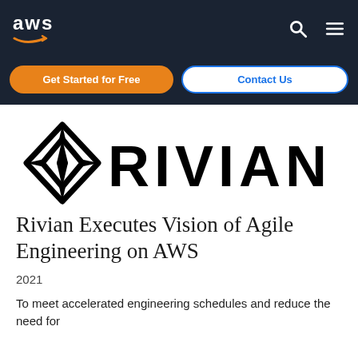aws
[Figure (logo): AWS logo with orange arrow/smile beneath text]
[Figure (logo): Rivian logo: diamond-shaped emblem with RIVIAN wordmark]
Rivian Executes Vision of Agile Engineering on AWS
2021
To meet accelerated engineering schedules and reduce the need for